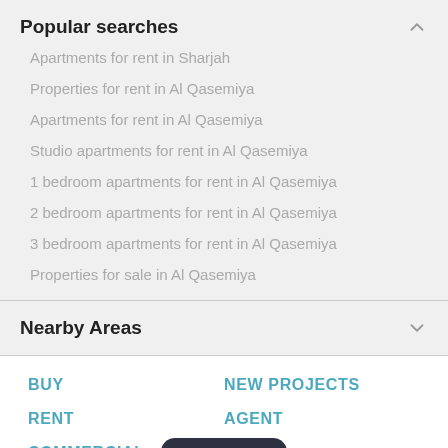Popular searches
Apartments for rent in Sharjah
Properties for rent in Al Qasemiya
Apartments for rent in Al Qasemiya
Studio apartments for rent in Al Qasemiya
1 bedroom apartments for rent in Al Qasemiya
2 bedroom apartments for rent in Al Qasemiya
3 bedroom apartments for rent in Al Qasemiya
Properties for sale in Al Qasemiya
Nearby Areas
BUY
NEW PROJECTS
RENT
AGENT
COMMERCIAL
[Figure (other): Map button with location pin icon]